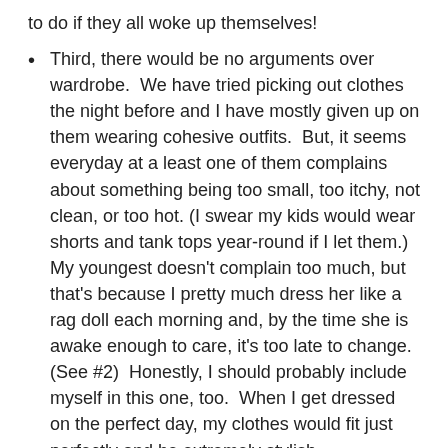to do if they all woke up themselves!
Third, there would be no arguments over wardrobe.  We have tried picking out clothes the night before and I have mostly given up on them wearing cohesive outfits.  But, it seems everyday at a least one of them complains about something being too small, too itchy, not clean, or too hot. (I swear my kids would wear shorts and tank tops year-round if I let them.)  My youngest doesn't complain too much, but that's because I pretty much dress her like a rag doll each morning and, by the time she is awake enough to care, it's too late to change. (See #2)  Honestly, I should probably include myself in this one, too.  When I get dressed on the perfect day, my clothes would fit just perfectly and be extremely stylish.
Fourth, everyone would get out the door calmly and on time.  Nobody would remember something they need to get at the last minute.  There would be no misplaced socks, shoes, or coats.  I would not have